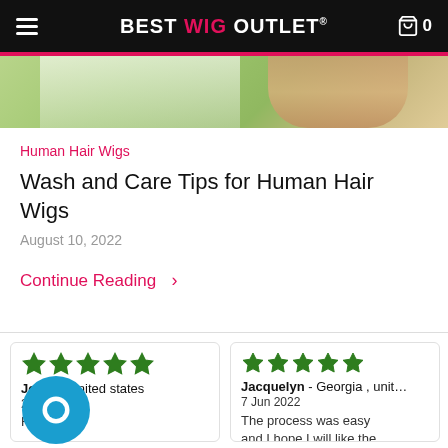BEST WIG OUTLET
[Figure (photo): Partial photo of a woman with blonde hair outdoors with green background]
Human Hair Wigs
Wash and Care Tips for Human Hair Wigs
August 10, 2022
Continue Reading >
★★★★★  Jo  PA, united states  2  Fine
★★★★★  Jacquelyn - Georgia , unit…  7 Jun 2022  The process was easy and I hope I will like the